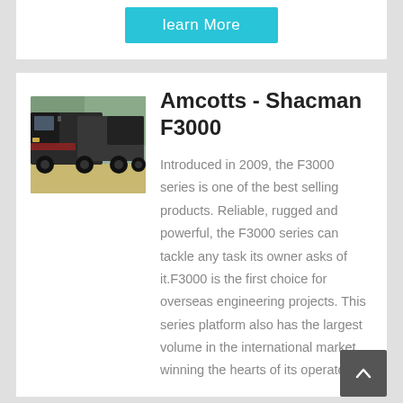[Figure (other): Cyan/teal 'learn More' button]
[Figure (photo): Photo of Shacman F3000 trucks, dark colored dump trucks parked outdoors with trees in background]
Amcotts - Shacman F3000
Introduced in 2009, the F3000 series is one of the best selling products. Reliable, rugged and powerful, the F3000 series can tackle any task its owner asks of it.F3000 is the first choice for overseas engineering projects. This series platform also has the largest volume in the international market, winning the hearts of its operators.